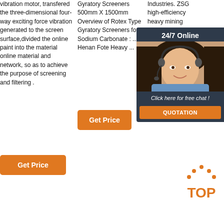vibration motor, transfered the three-dimensional four-way exciting force vibration generated to the screen surface,divided the online paint into the material online material and network, so as to achieve the purpose of screening and filtering .
Gyratory Screeners 500mm X 1500mm Overview of Rotex Type Gyratory Screeners for Sodium Carbonate : ... Henan Fote Heavy ...
Industries. ZSG high-efficiency heavy mining vibrating screen is divided into vibration type and type according to different
[Figure (screenshot): 24/7 Online chat widget with customer service representative photo, 'Click here for free chat!' text, and QUOTATION button]
[Figure (illustration): Orange TOP badge with dots above forming a triangle/arc shape]
Get Price
Get Price
Get Price
Get